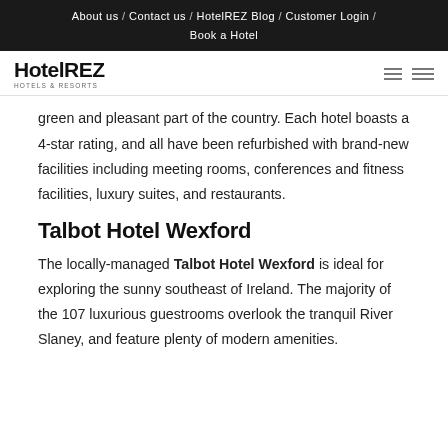About us / Contact us / HotelREZ Blog / Customer Login / Book a Hotel
[Figure (logo): HotelREZ Hotels & Resorts logo with hamburger menu icons]
green and pleasant part of the country. Each hotel boasts a 4-star rating, and all have been refurbished with brand-new facilities including meeting rooms, conferences and fitness facilities, luxury suites, and restaurants.
Talbot Hotel Wexford
The locally-managed Talbot Hotel Wexford is ideal for exploring the sunny southeast of Ireland. The majority of the 107 luxurious guestrooms overlook the tranquil River Slaney, and feature plenty of modern amenities.